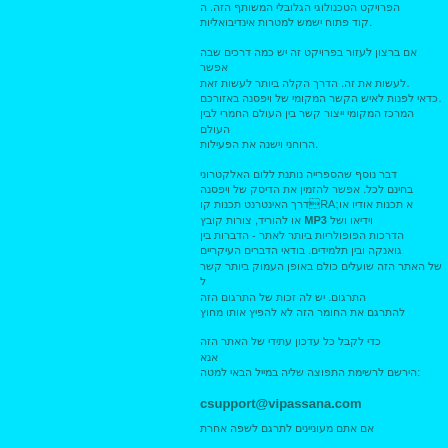[Hebrew/non-Latin script text paragraph 1]
[Hebrew/non-Latin script text paragraph 2]
[Hebrew/non-Latin script text paragraph 3 mentioning MP3]
[Hebrew/non-Latin script text paragraph 4]
csupport@vipassana.com
[Hebrew/non-Latin script text paragraph 5]